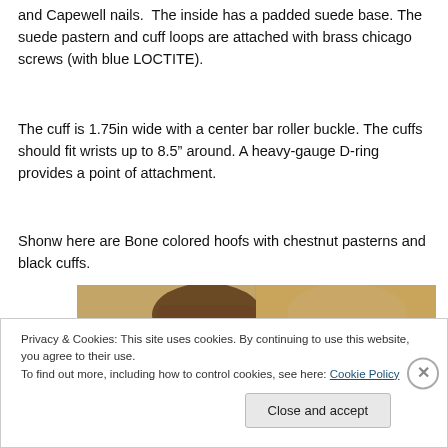and Capewell nails. The inside has a padded suede base. The suede pastern and cuff loops are attached with brass chicago screws (with blue LOCTITE).
The cuff is 1.75in wide with a center bar roller buckle. The cuffs should fit wrists up to 8.5″ around. A heavy-gauge D-ring provides a point of attachment.
Shonw here are Bone colored hoofs with chestnut pasterns and black cuffs.
[Figure (photo): Partial photo showing leather horse hoof boots/cuffs in bone/tan color on a beige background]
Privacy & Cookies: This site uses cookies. By continuing to use this website, you agree to their use.
To find out more, including how to control cookies, see here: Cookie Policy